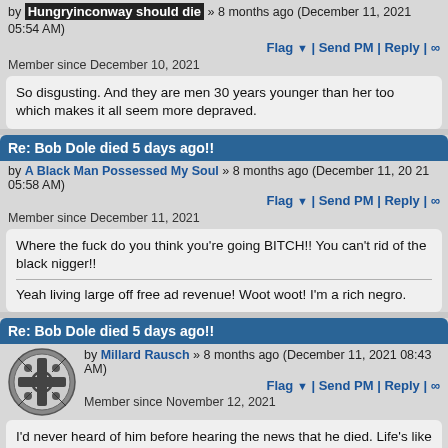by Hungryinconway should die » 8 months ago (December 11, 2021 05:54 AM)
Flag ▼ | Send PM | Reply | ∞
Member since December 10, 2021
So disgusting. And they are men 30 years younger than her too which makes it all seem more depraved.
Re: Bob Dole died 5 days ago!!
by A Black Man Possessed My Soul » 8 months ago (December 11, 2021 05:58 AM)
Flag ▼ | Send PM | Reply | ∞
Member since December 11, 2021
Where the fuck do you think you're going BITCH!! You can't rid of the black nigger!!

Yeah living large off free ad revenue! Woot woot! I'm a rich negro.
Re: Bob Dole died 5 days ago!!
by Millard Rausch » 8 months ago (December 11, 2021 08:43 AM)
Flag ▼ | Send PM | Reply | ∞
Member since November 12, 2021
I'd never heard of him before hearing the news that he died. Life's like that.